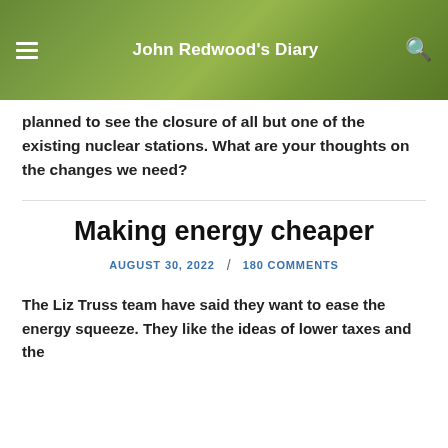John Redwood's Diary
planned to see the closure of all but one of the existing nuclear stations. What are your thoughts on the changes we need?
Making energy cheaper
AUGUST 30, 2022 / 180 COMMENTS
The Liz Truss team have said they want to ease the energy squeeze. They like the ideas of lower taxes and the